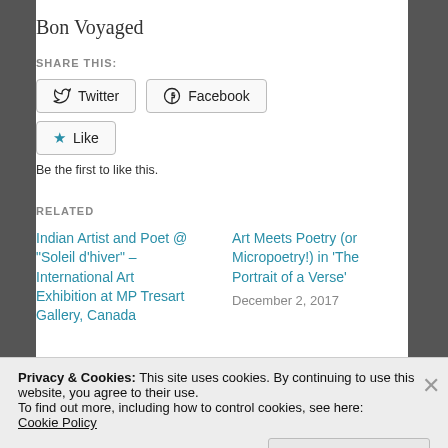Bon Voyaged
SHARE THIS:
[Figure (screenshot): Social sharing buttons: Twitter, Facebook, and Like button with star icon]
Be the first to like this.
RELATED
Indian Artist and Poet @ “Soleil d’hiver” – International Art Exhibition at MP Tresart Gallery, Canada
Art Meets Poetry (or Micropoetry!) in ‘The Portrait of a Verse’
December 2, 2017
Privacy & Cookies: This site uses cookies. By continuing to use this website, you agree to their use.
To find out more, including how to control cookies, see here:
Cookie Policy
Close and accept